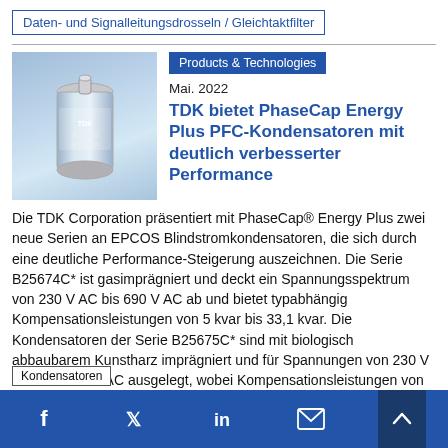Daten- und Signalleitungsdrosseln / Gleichtaktfilter
[Figure (photo): Photo of a TDK PhaseCap Energy Plus PFC capacitor (cylindrical metallic component) against a blurred blue background]
Products & Technologies
Mai. 2022
TDK bietet PhaseCap Energy Plus PFC-Kondensatoren mit deutlich verbesserter Performance
Die TDK Corporation präsentiert mit PhaseCap® Energy Plus zwei neue Serien an EPCOS Blindstromkondensatoren, die sich durch eine deutliche Performance-Steigerung auszeichnen. Die Serie B25674C* ist gasimprägniert und deckt ein Spannungsspektrum von 230 V AC bis 690 V AC ab und bietet typabhängig Kompensationsleistungen von 5 kvar bis 33,1 kvar. Die Kondensatoren der Serie B25675C* sind mit biologisch abbaubarem Kunstharz imprägniert und für Spannungen von 230 V AC bis 1000 V AC ausgelegt, wobei Kompensationsleistungen von bis zu 60 kvar erzielt werden
Facebook, Twitter, LinkedIn, Email, Scroll up | Kondensatoren